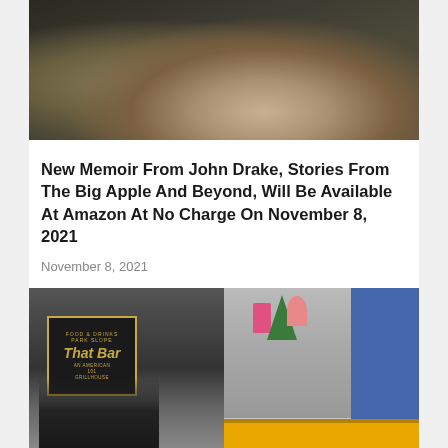[Figure (photo): Close-up photo of what appears to be an elderly person's neck and chin, wearing a dark jacket or coat]
New Memoir From John Drake, Stories From The Big Apple And Beyond, Will Be Available At Amazon At No Charge On November 8, 2021
November 8, 2021
[Figure (photo): Street scene photo showing 'That Bar' signage on a dark storefront on the left, and a yellow food cart/barrier on the right with plants and cups on top. A young girl wearing a face mask is visible in the foreground on the left.]